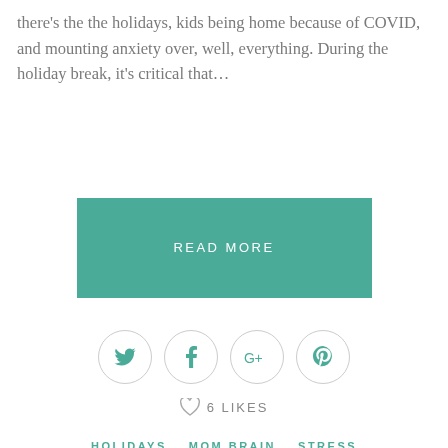there's the the holidays, kids being home because of COVID, and mounting anxiety over, well, everything. During the holiday break, it's critical that…
READ MORE
[Figure (other): Social sharing icons: Twitter bird, Facebook f, Google+, Pinterest P — each inside a circular border outline]
6 LIKES
HOLIDAYS   MOM BRAIN   STRESS   VIDEOS